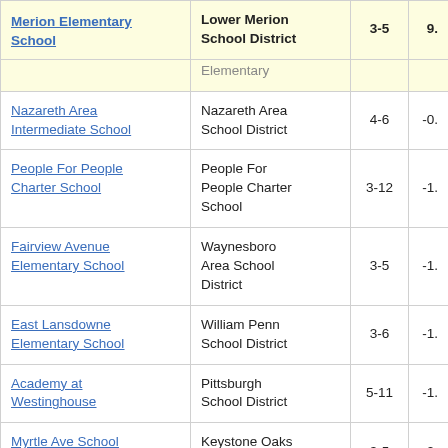| School | District | Grades | Score |
| --- | --- | --- | --- |
| Merion Elementary School | Lower Merion School District | 3-5 | 9. |
| Elementary |  |  |  |
| Nazareth Area Intermediate School | Nazareth Area School District | 4-6 | -0. |
| People For People Charter School | People For People Charter School | 3-12 | -1. |
| Fairview Avenue Elementary School | Waynesboro Area School District | 3-5 | -1. |
| East Lansdowne Elementary School | William Penn School District | 3-6 | -1. |
| Academy at Westinghouse | Pittsburgh School District | 5-11 | -1. |
| Myrtle Ave School | Keystone Oaks School District | 3-5 | -2. |
| Sullivan Co | Sullivan Co. |  |  |